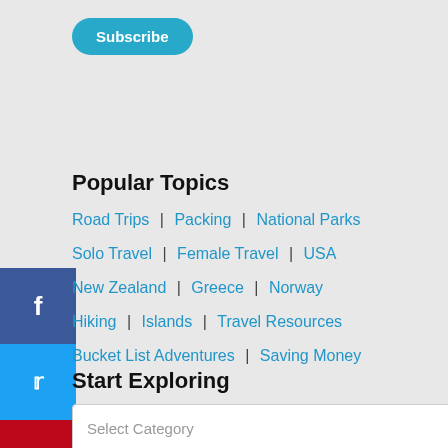[Figure (other): Subscribe button - teal/cyan pill-shaped button with white text reading 'Subscribe']
Popular Topics
Road Trips | Packing | National Parks
Solo Travel | Female Travel | USA
New Zealand | Greece | Norway
Hiking | Islands | Travel Resources
Bucket List Adventures | Saving Money
[Figure (other): Social media sharing sidebar with Facebook (blue), Twitter (light blue), Pinterest (red), and Email (green) icon buttons]
Start Exploring
[Figure (other): Dropdown select box labeled 'Select Category' with a chevron arrow on the right]